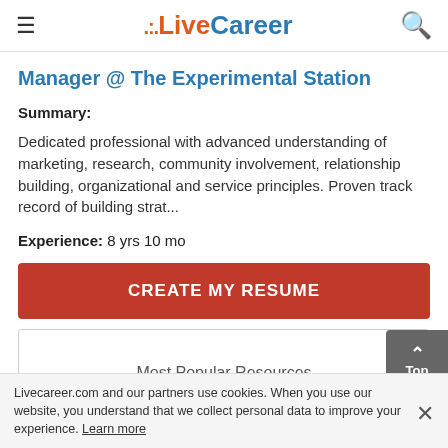LiveCareer
Manager @ The Experimental Station
Summary:
Dedicated professional with advanced understanding of marketing, research, community involvement, relationship building, organizational and service principles. Proven track record of building strat...
Experience: 8 yrs 10 mo
CREATE MY RESUME
Most Popular Resources
Livecareer.com and our partners use cookies. When you use our website, you understand that we collect personal data to improve your experience. Learn more